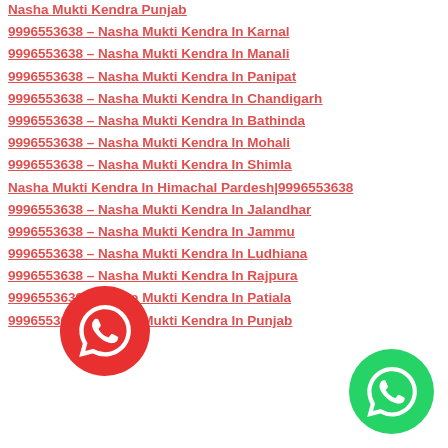Nasha Mukti Kendra Punjab
9996553638 – Nasha Mukti Kendra In Karnal
9996553638 – Nasha Mukti Kendra In Manali
9996553638 – Nasha Mukti Kendra In Panipat
9996553638 – Nasha Mukti Kendra In Chandigarh
9996553638 – Nasha Mukti Kendra In Bathinda
9996553638 – Nasha Mukti Kendra In Mohali
9996553638 – Nasha Mukti Kendra In Shimla
Nasha Mukti Kendra In Himachal Pardesh|9996553638
9996553638 – Nasha Mukti Kendra In Jalandhar
9996553638 – Nasha Mukti Kendra In Jammu
9996553638 – Nasha Mukti Kendra In Ludhiana
9996553638 – Nasha Mukti Kendra In Rajpura
9996553638 – Nasha Mukti Kendra In Patiala
9996553638 – Nasha Mukti Kendra In Punjab